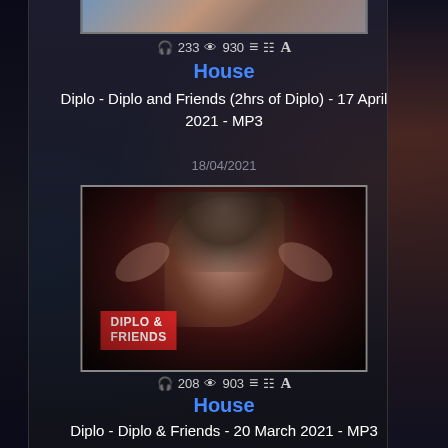[Figure (photo): Partial top thumbnail of DJ/music content, cropped at top]
🎧 233 👁 930 ≡ ⊞ A
House
Diplo - Diplo and Friends (2hrs of Diplo) - 17 April 2021 - MP3
18/04/2021
[Figure (photo): Thumbnail image of Diplo with 'DIPLO & FRIENDS' red label overlay, dark moody portrait]
🎧 208 👁 903 ≡ ⊞ A
House
Diplo - Diplo & Friends - 20 March 2021 - MP3
21/03/2021
[Figure (photo): Partial bottom thumbnail showing audio waveform bars with blue highlights on dark background]